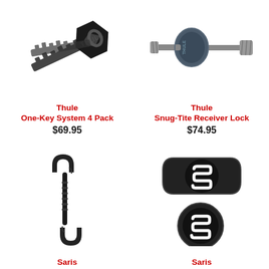[Figure (photo): Thule One-Key System 4 Pack - black key with THULE branding and serrated metal key blade]
Thule
One-Key System 4 Pack
$69.95
[Figure (photo): Thule Snug-Tite Receiver Lock - dark grey cylindrical lock body with bolt]
Thule
Snug-Tite Receiver Lock
$74.95
[Figure (photo): Saris carabiner-style cable lock accessory, black metal]
Saris
[Figure (photo): Saris logo accessories - two black oval pieces with white S logo]
Saris